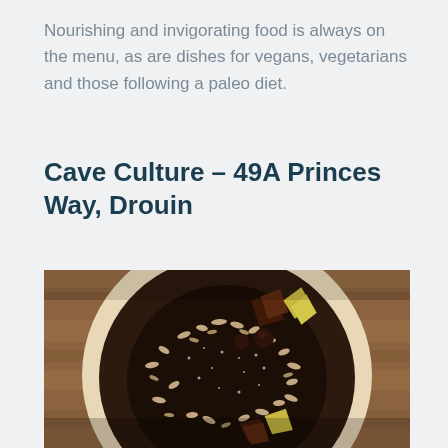Nourishing and invigorating food is always on the menu, as are dishes for vegans, vegetarians and those following a paleo diet.
Cave Culture – 49A Princes Way, Drouin
[Figure (photo): Overhead view of a dark chocolate tart topped with chopped nuts and chocolate decorations on a wooden board, photographed from above on a rustic wooden table.]